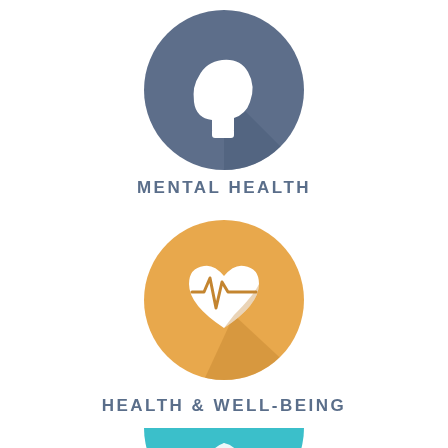[Figure (illustration): Blue-grey circle icon with a white human head silhouette and dotted circle in the brain area, with a long shadow effect, representing Mental Health]
MENTAL HEALTH
[Figure (illustration): Orange circle icon with a white heart and heartbeat/ECG line through it, with a long shadow effect, representing Health & Well-Being]
HEALTH & WELL-BEING
[Figure (illustration): Teal/cyan circle icon partially visible at bottom of page, with a white leaf or nature symbol, representing a third health category]